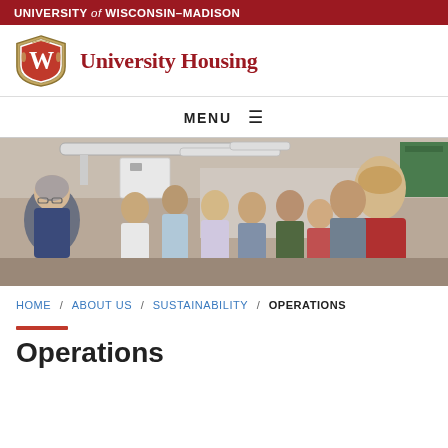UNIVERSITY of WISCONSIN-MADISON
University Housing
MENU ≡
[Figure (photo): A woman in a blue uniform speaking to a group of students in an industrial/mechanical room with pipes and equipment visible. Students of various ethnicities listen attentively.]
HOME / ABOUT US / SUSTAINABILITY / OPERATIONS
Operations